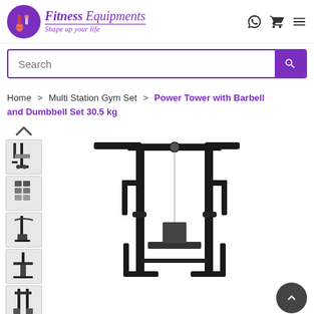[Figure (logo): Fitness Equipments logo with purple circle icon and italic brand text 'Fitness Equipments — Shape up your life']
[Figure (screenshot): Search bar with purple border and search button]
Home > Multi Station Gym Set > Power Tower with Barbell and Dumbbell Set 30.5 kg
[Figure (photo): Power Tower with Barbell and Dumbbell Set gym equipment — main product image showing black multi-station gym tower with cable pulley system and seat, plus thumbnail images on the left side]